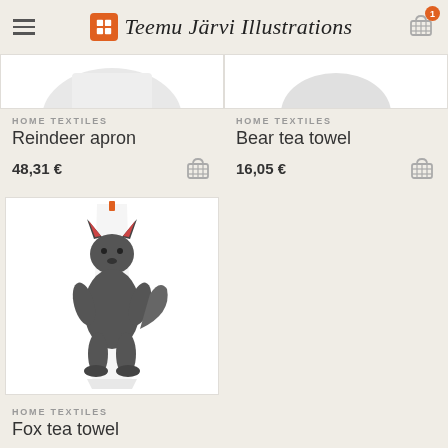Teemu Järvi Illustrations
HOME TEXTILES
Reindeer apron
48,31 €
HOME TEXTILES
Bear tea towel
16,05 €
[Figure (photo): Fox tea towel product image — a white tea towel with a black illustrated fox printed on it, hung draped showing the towel folded with the fox visible]
HOME TEXTILES
Fox tea towel
16,05 €